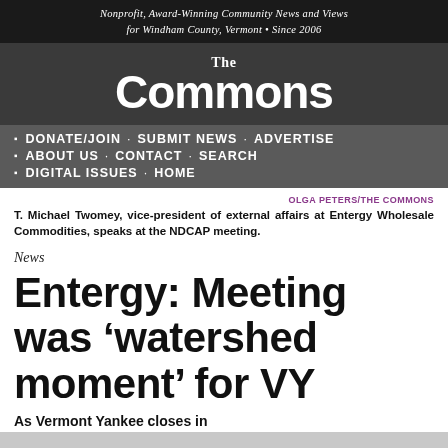Nonprofit, Award-Winning Community News and Views for Windham County, Vermont • Since 2006
[Figure (logo): The Commons newspaper logo — 'The' in small text above large bold 'Commons' text on dark background]
DONATE/JOIN · SUBMIT NEWS · ADVERTISE
ABOUT US · CONTACT · SEARCH
DIGITAL ISSUES · HOME
OLGA PETERS/THE COMMONS
T. Michael Twomey, vice-president of external affairs at Entergy Wholesale Commodities, speaks at the NDCAP meeting.
News
Entergy: Meeting was 'watershed moment' for VY
As Vermont Yankee closes in...